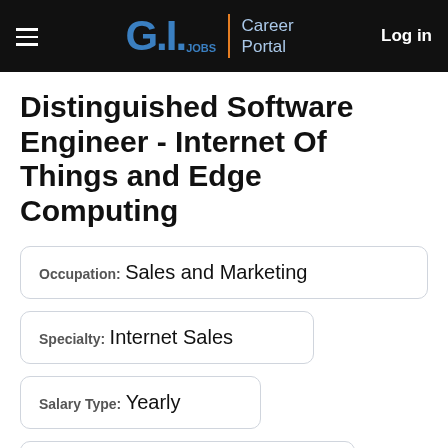GI.Jobs Career Portal | Log in
Distinguished Software Engineer - Internet Of Things and Edge Computing
Occupation: Sales and Marketing
Specialty: Internet Sales
Salary Type: Yearly
Visa sponsorship provided: No
Location: Ashburn, Virginia, United